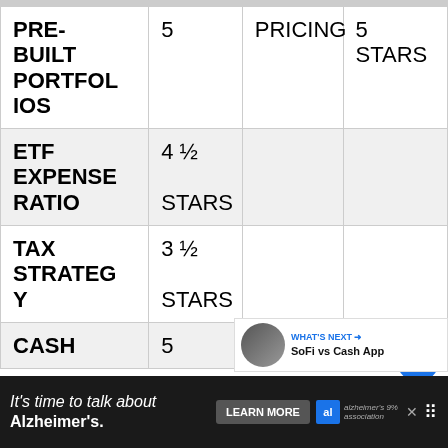| Feature | Rating | Category | Overall |
| --- | --- | --- | --- |
| PRE-BUILT PORTFOLIOS | 5 | PRICING | 5 STARS |
| ETF EXPENSE RATIO | 4 ½ STARS |  |  |
| TAX STRATEGY | 3 ½ STARS |  |  |
| CASH | 5 |  |  |